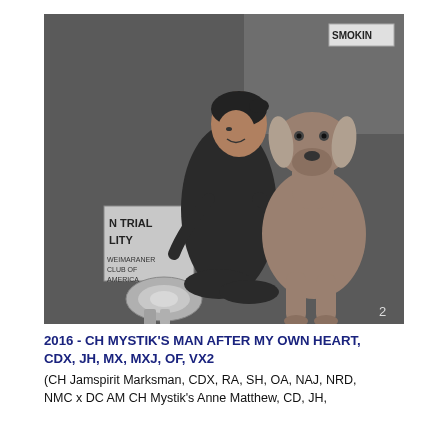[Figure (photo): Black and white photograph of a woman kneeling beside a Weimaraner dog at what appears to a dog show or field trial. A ribbon/rosette is visible at the lower left. A sign partially reading 'N TRIAL LITY' and 'WEIMARANER CLUB OF AMERICA' is visible. A small sign reading 'SMOKIN' appears in the upper right.]
2016 - CH MYSTIK'S MAN AFTER MY OWN HEART, CDX, JH, MX, MXJ, OF, VX2
(CH Jamspirit Marksman, CDX, RA, SH, OA, NAJ, NRD, NMC x DC AM CH Mystik's Anne Matthew, CD, JH,